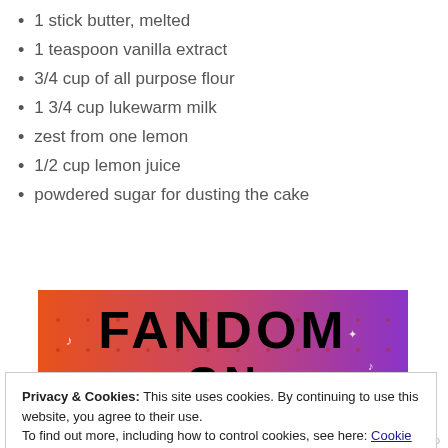1 stick butter, melted
1 teaspoon vanilla extract
3/4 cup of all purpose flour
1 3/4 cup lukewarm milk
zest from one lemon
1/2 cup lemon juice
powdered sugar for dusting the cake
[Figure (illustration): Fandom on Tumblr banner image with colorful orange-to-purple gradient background, large bold text reading FANDOM ON tumblr with doodle icons]
Privacy & Cookies: This site uses cookies. By continuing to use this website, you agree to their use.
To find out more, including how to control cookies, see here: Cookie Policy
Close and accept